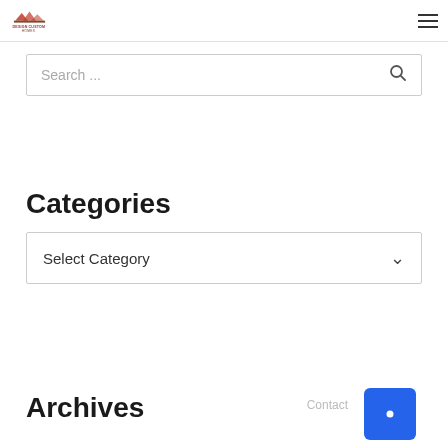Design Custom Homes logo and navigation
Search ...
Categories
Select Category
Archives
Contact